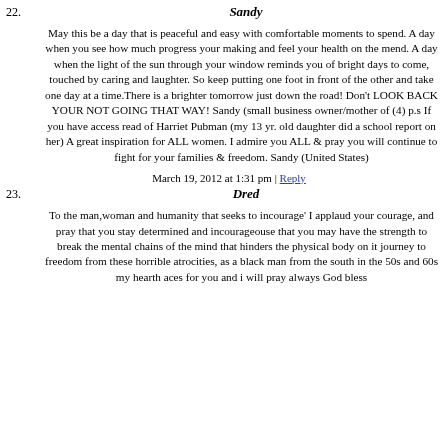22. Sandy
May this be a day that is peaceful and easy with comfortable moments to spend. A day when you see how much progress your making and feel your health on the mend. A day when the light of the sun through your window reminds you of bright days to come, touched by caring and laughter. So keep putting one foot in front of the other and take one day at a time.There is a brighter tomorrow just down the road! Don't LOOK BACK YOUR NOT GOING THAT WAY! Sandy (small business owner/mother of (4) p.s If you have access read of Harriet Pubman (my 13 yr. old daughter did a school report on her) A great inspiration for ALL women. I admire you ALL & pray you will continue to fight for your families & freedom. Sandy (United States)
March 19, 2012 at 1:31 pm | Reply
23. Dred
To the man,woman and humanity that seeks to incourage' I applaud your courage, and pray that you stay determined and incourageouse that you may have the strength to break the mental chains of the mind that hinders the physical body on it journey to freedom from these horrible atrocities, as a black man from the south in the 50s and 60s my hearth aces for you and i will pray always God bless